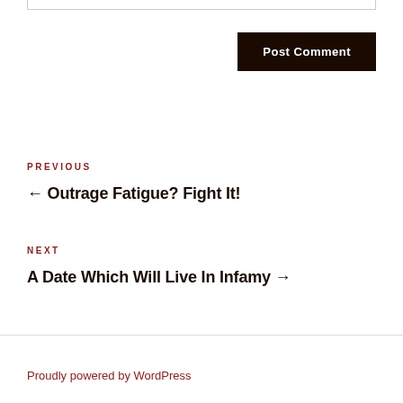[input box top]
Post Comment
PREVIOUS
← Outrage Fatigue? Fight It!
NEXT
A Date Which Will Live In Infamy →
Proudly powered by WordPress